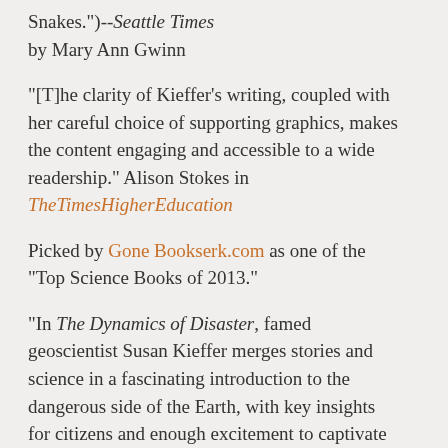Snakes.")--Seattle Times by Mary Ann Gwinn
"[T]he clarity of Kieffer’s writing, coupled with her careful choice of supporting graphics, makes the content engaging and accessible to a wide readership." Alison Stokes in TheTimesHigherEducation
Picked by GoneBookserk.com as one of the "Top Science Books of 2013."
“In The Dynamics of Disaster, famed geoscientist Susan Kieffer merges stories and science in a fascinating introduction to the dangerous side of the Earth, with key insights for citizens and enough excitement to captivate the